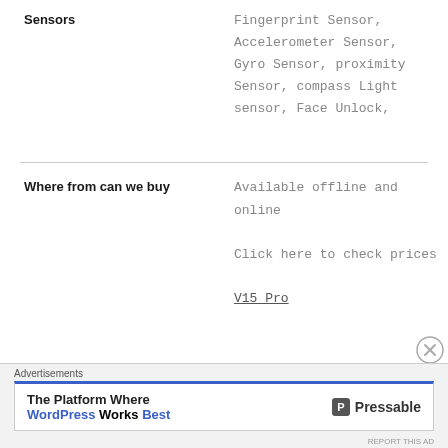|  |  |
| --- | --- |
| Sensors | Fingerprint Sensor, Accelerometer Sensor, Gyro Sensor, proximity Sensor, compass Light sensor, Face Unlock, |
| Where from can we buy | Available offline and online

Click here to check prices

V15 Pro |
[Figure (other): Advertisement banner: 'The Platform Where WordPress Works Best' with Pressable logo and blue top border]